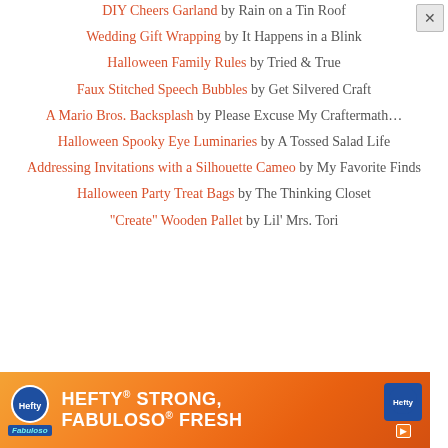DIY Cheers Garland by Rain on a Tin Roof
Wedding Gift Wrapping by It Happens in a Blink
Halloween Family Rules by Tried & True
Faux Stitched Speech Bubbles by Get Silvered Craft
A Mario Bros. Backsplash by Please Excuse My Craftermath…
Halloween Spooky Eye Luminaries by A Tossed Salad Life
Addressing Invitations with a Silhouette Cameo by My Favorite Finds
Halloween Party Treat Bags by The Thinking Closet
"Create" Wooden Pallet by Lil' Mrs. Tori
[Figure (screenshot): Hefty advertisement banner: orange background with Hefty and Fabuloso logos, text HEFTY STRONG, FABULOSO FRESH]